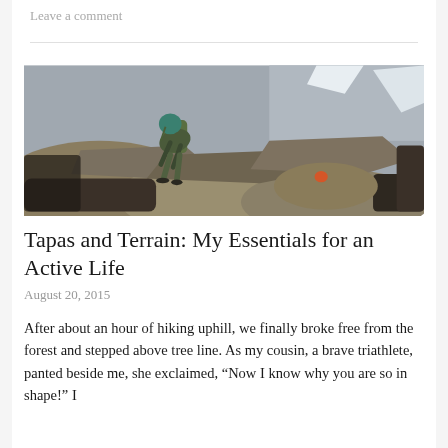Leave a comment
[Figure (photo): A hiker with a backpack and teal head covering crouching on rocky terrain above tree line, examining something on a boulder. Mountain landscape with rocky outcrops and patches of snow in background.]
Tapas and Terrain: My Essentials for an Active Life
August 20, 2015
After about an hour of hiking uphill, we finally broke free from the forest and stepped above tree line. As my cousin, a brave triathlete, panted beside me, she exclaimed, "Now I know why you are so in shape!" I